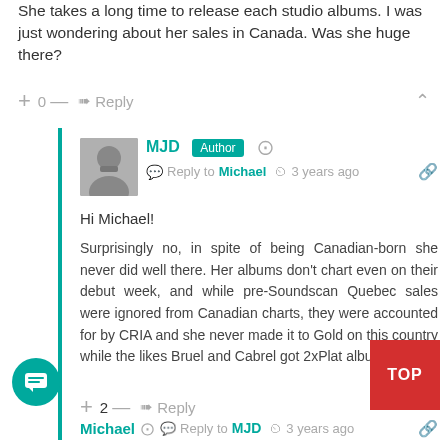She takes a long time to release each studio albums. I was just wondering about her sales in Canada. Was she huge there?
+ 0 — Reply
MJD [Author] Reply to Michael 3 years ago
Hi Michael!
Surprisingly no, in spite of being Canadian-born she never did well there. Her albums don't chart even on their debut week, and while pre-Soundscan Quebec sales were ignored from Canadian charts, they were accounted for by CRIA and she never made it to Gold on this country while the likes Bruel and Cabrel got 2xPlat albums!
+ 2 — Reply
Michael Reply to MJD 3 years ago